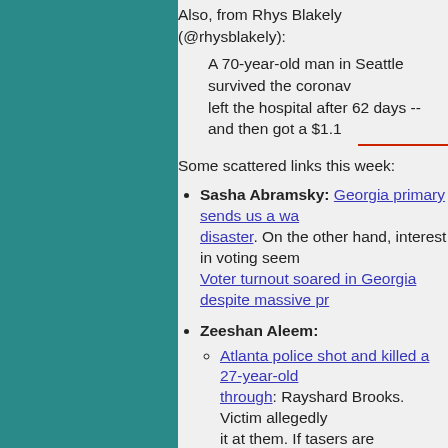Also, from Rhys Blakely (@rhysblakely):
A 70-year-old man in Seattle survived the coronavirus, left the hospital after 62 days -- and then got a $1.1
Some scattered links this week:
Sasha Abramsky: Georgia primary sends us a wa... disaster. On the other hand, interest in voting seem... Voter turnout soared in Georgia despite massive pr...
Zeeshan Aleem:
Atlanta police shot and killed a 27-year-old ... through: Rayshard Brooks. Victim allegedly it at them. If tasers are considered non-lethal and killing someone? Seems like it could ha... more about how dangerous tasers are than th... officer-involved shooting" in Georgia so far... Everything we know about the killing of Ra...
Trump's West Point speech contradicts one c...
Bocar Abdoulaye Ba/Roman Rivera: Police thin... because they usually do.